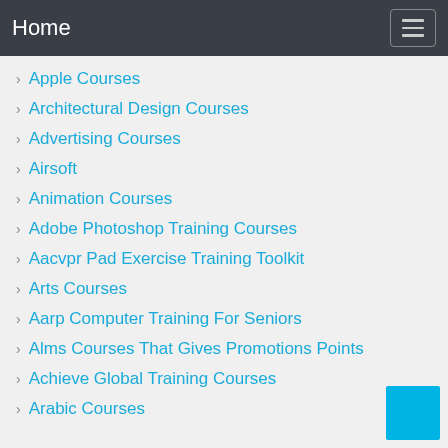Home
Apple Courses
Architectural Design Courses
Advertising Courses
Airsoft
Animation Courses
Adobe Photoshop Training Courses
Aacvpr Pad Exercise Training Toolkit
Arts Courses
Aarp Computer Training For Seniors
Alms Courses That Gives Promotions Points
Achieve Global Training Courses
Arabic Courses